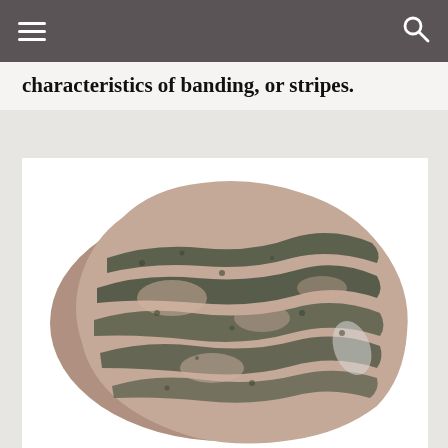characteristics of banding, or stripes.
[Figure (photo): A rock specimen showing clear banding or striped metamorphic texture, with dark greenish-black and pinkish-tan alternating mineral layers, rough and irregular surface.]